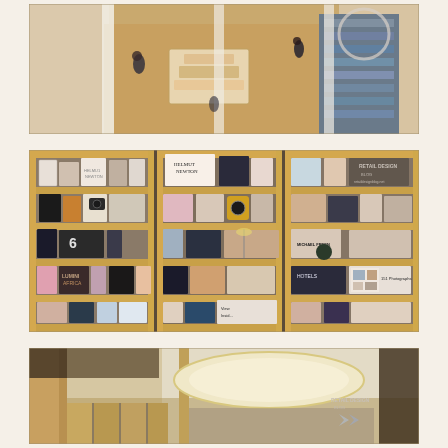[Figure (photo): Aerial/overhead view of a retail bookstore or design shop interior with wooden floors, display tables, bookshelves, and customers browsing. Panoramic composite of multiple shots showing the store floor from above.]
[Figure (photo): Wall of wooden bookshelves filled with books, magazines, photography books, and design items. Multiple shelf sections displaying various publications including a Helmut Newton book. Retail design store shelving display. Watermark: RETAIL DESIGN / retaildesignblog.net]
[Figure (photo): Interior of a retail/bookstore showing architectural details with arched ceiling, round light fixture, and wooden structural elements. Partial view showing the store entrance or main hall area. Watermark: RETAIL DESIGN / retaildesignblog.net]